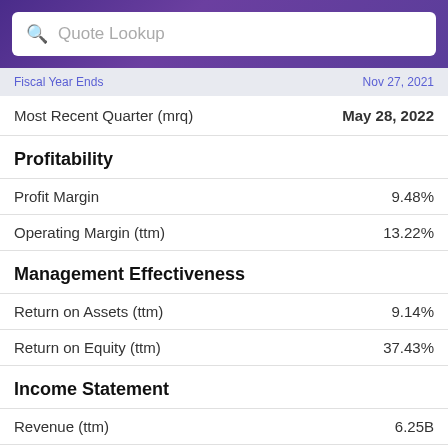Quote Lookup
Fiscal Year Ends   Nov 27, 2021
Most Recent Quarter (mrq)   May 28, 2022
Profitability
Profit Margin   9.48%
Operating Margin (ttm)   13.22%
Management Effectiveness
Return on Assets (ttm)   9.14%
Return on Equity (ttm)   37.43%
Income Statement
Revenue (ttm)   6.25B
Revenue Per Share (ttm)   15.59